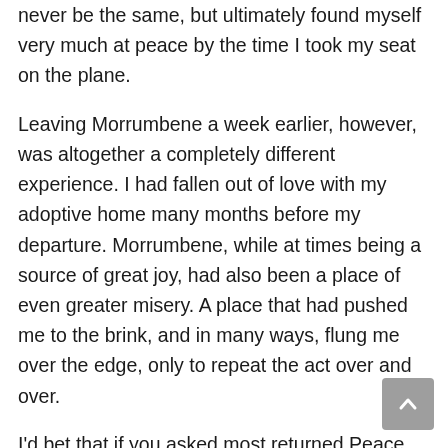never be the same, but ultimately found myself very much at peace by the time I took my seat on the plane.
Leaving Morrumbene a week earlier, however, was altogether a completely different experience. I had fallen out of love with my adoptive home many months before my departure. Morrumbene, while at times being a source of great joy, had also been a place of even greater misery. A place that had pushed me to the brink, and in many ways, flung me over the edge, only to repeat the act over and over.
I'd bet that if you asked most returned Peace Corps volunteers about their last days of their